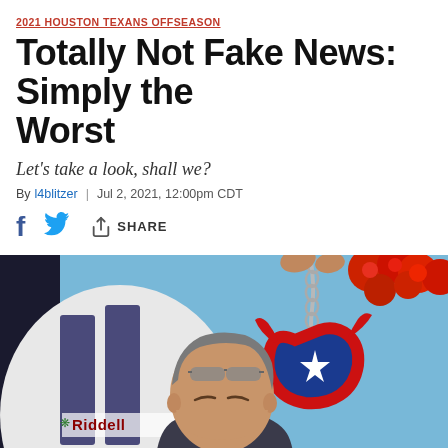2021 HOUSTON TEXANS OFFSEASON
Totally Not Fake News: Simply the Worst
Let's take a look, shall we?
By l4blitzer | Jul 2, 2021, 12:00pm CDT
[Figure (other): Social share bar with Facebook, Twitter, and Share icons]
[Figure (photo): A man in a suit looking down, with sunglasses on his head, in front of a Riddell helmet and a Houston Texans bedazzled logo with red flowers on a chain, against a light blue background]